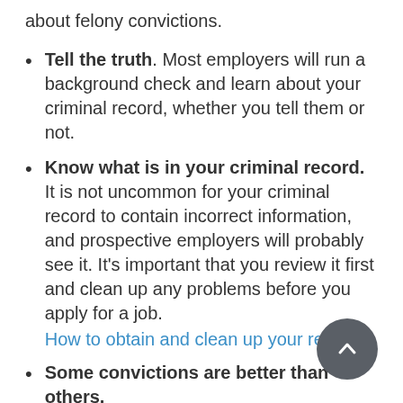about felony convictions.
Tell the truth. Most employers will run a background check and learn about your criminal record, whether you tell them or not.
Know what is in your criminal record. It is not uncommon for your criminal record to contain incorrect information, and prospective employers will probably see it. It’s important that you review it first and clean up any problems before you apply for a job. How to obtain and clean up your record.
Some convictions are better than others.